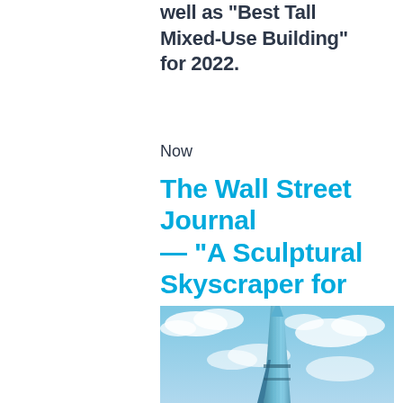well as "Best Tall Mixed-Use Building" for 2022.
Now
The Wall Street Journal — "A Sculptural Skyscraper for Chicago"
[Figure (photo): A glass skyscraper tower photographed from below against a partly cloudy blue sky. The building features angular, sculptural geometry with reflective glass facades.]